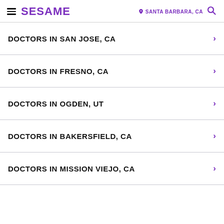SESAME | SANTA BARBARA, CA
DOCTORS IN SAN JOSE, CA
DOCTORS IN FRESNO, CA
DOCTORS IN OGDEN, UT
DOCTORS IN BAKERSFIELD, CA
DOCTORS IN MISSION VIEJO, CA